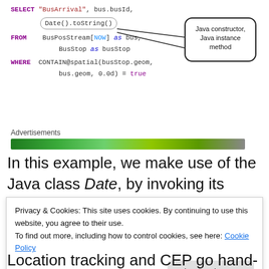[Figure (screenshot): SQL code block showing a SELECT query with BusArrival, busId, Date().toString() from BusPosStream[NOW] as bus and BusStop as busStop, with a callout arrow pointing to Date().toString() labeling it as Java constructor, Java instance method]
Advertisements
[Figure (other): Green advertisement banner bar]
In this example, we make use of the Java class Date, by invoking its constructor, and then we invoke the instance method toString() on the new object.
Privacy & Cookies: This site uses cookies. By continuing to use this website, you agree to their use.
To find out more, including how to control cookies, see here: Cookie Policy
Close and accept
Location tracking and CEP go hand-in-hand. One example